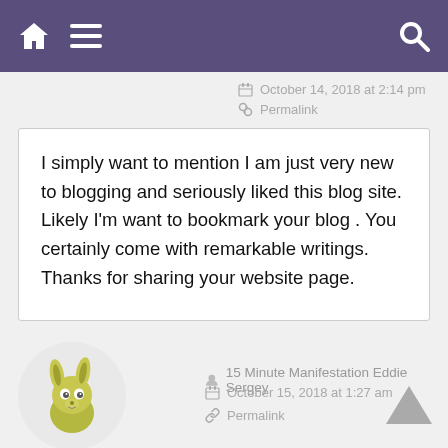Navigation bar with home, menu, and search icons
October 14, 2018 at 2:14 pm
Permalink
I simply want to mention I am just very new to blogging and seriously liked this blog site. Likely I'm want to bookmark your blog . You certainly come with remarkable writings. Thanks for sharing your website page.
[Figure (illustration): Cartoon rabbit/kangaroo avatar in a circular frame]
15 Minute Manifestation Eddie Sergey
October 15, 2018 at 1:27 am
Permalink